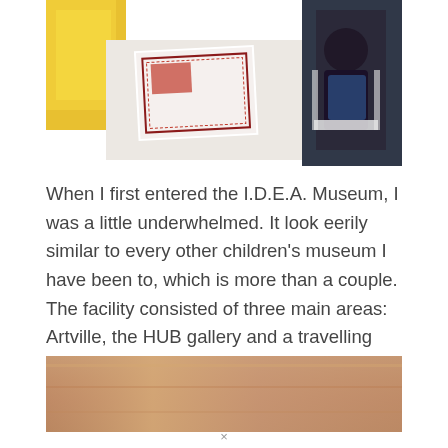[Figure (photo): Photo of a children's museum activity table with yellow bins, colorful papers/worksheets, and a child sitting in a white chair in the background]
When I first entered the I.D.E.A. Museum, I was a little underwhelmed. It look eerily similar to every other children's museum I have been to, which is more than a couple. The facility consisted of three main areas: Artville, the HUB gallery and a travelling exhibition area, which consisted of a weather exhibit.  My opinion would change.
[Figure (photo): Photo of a wooden or tan-colored surface, possibly a museum exhibit counter or table]